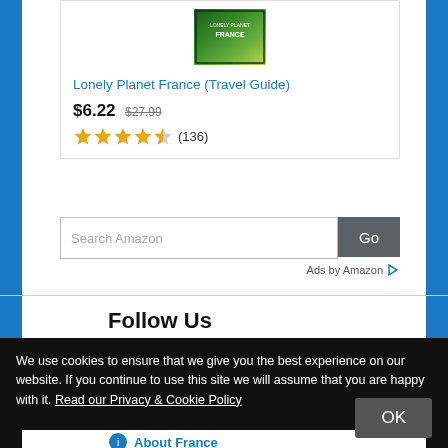[Figure (photo): Book cover of Lonely Planet France Travel Guide showing green landscape]
Lonely Planet France (Travel Guide)
$6.22  $27.99
(136)
[Figure (other): Search Amazon input box with Go button]
Ads by Amazon
Follow Us
[Figure (other): Social media icons: Facebook, Twitter/X, Instagram, YouTube, and others]
We use cookies to ensure that we give you the best experience on our website. If you continue to use this site we will assume that you are happy with it. Read our Privacy & Cookie Policy
OK
About France